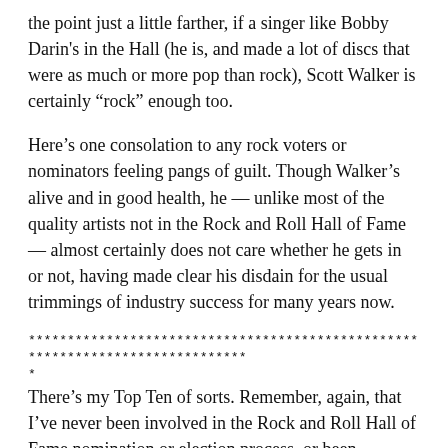the point just a little farther, if a singer like Bobby Darin's in the Hall (he is, and made a lot of discs that were as much or more pop than rock), Scott Walker is certainly “rock” enough too.
Here’s one consolation to any rock voters or nominators feeling pangs of guilt. Though Walker’s alive and in good health, he — unlike most of the quality artists not in the Rock and Roll Hall of Fame — almost certainly does not care whether he gets in or not, having made clear his disdain for the usual trimmings of industry success for many years now.
******************************************************************************
*
There’s my Top Ten of sorts. Remember, again, that I’ve never been involved in the Rock and Roll Hall of Fame nomination or election process, or been approached to do so. So arguing these choices, or lobbying for others, will not have an effect on who gets selected. This is just a personal list.